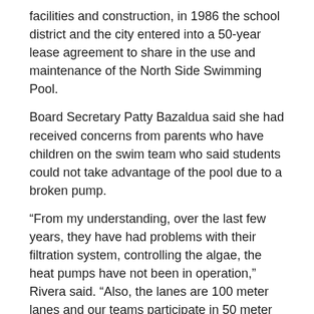facilities and construction, in 1986 the school district and the city entered into a 50-year lease agreement to share in the use and maintenance of the North Side Swimming Pool.
Board Secretary Patty Bazaldua said she had received concerns from parents who have children on the swim team who said students could not take advantage of the pool due to a broken pump.
“From my understanding, over the last few years, they have had problems with their filtration system, controlling the algae, the heat pumps have not been in operation,” Rivera said. “Also, the lanes are 100 meter lanes and our teams participate in 50 meter events. So they would have to install a divider to make the pool into 50 meter lanes.”
Rivera said the feasibility study would get the estimate of the cost to fix the multiple issues at the pool.
Superintendent Ricardo Lopez added one option the city and district are eyeing is for a portion of the pool to be enclosed for competitive use.
“The competitive side would be enclosed to allow the competitors